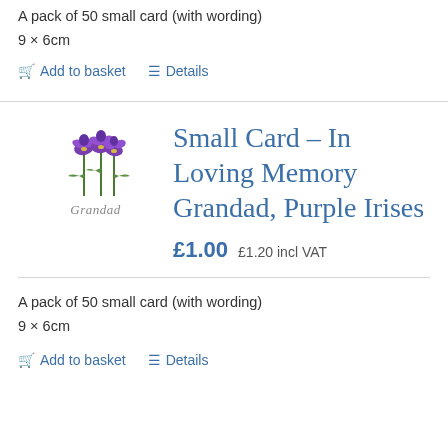A pack of 50 small card (with wording)
9 × 6cm
Add to basket   Details
Small Card – In Loving Memory Grandad, Purple Irises
£1.00  £1.20 incl VAT
A pack of 50 small card (with wording)
9 × 6cm
Add to basket   Details